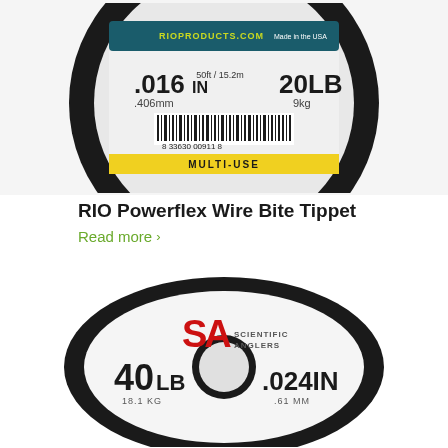[Figure (photo): RIO Powerflex Wire Bite Tippet spool - black spool with teal/dark label showing .016IN / .406mm diameter, 50ft/15.2m length, 20LB/9kg strength, barcode 8 33630 00911 8, MULTI-USE label, rioproducts.com website]
RIO Powerflex Wire Bite Tippet
Read more ›
[Figure (photo): Scientific Anglers tippet spool - white/silver spool with SA Scientific Anglers logo in red, showing 40LB / 18.1KG strength and .024IN / .61MM diameter, with center hole visible]